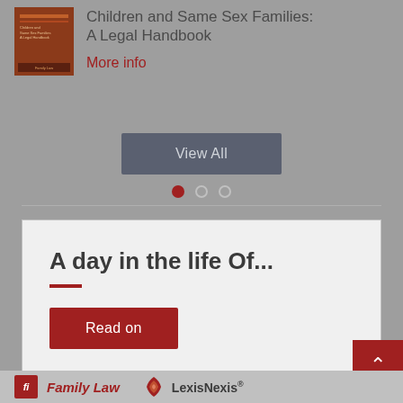[Figure (illustration): Book cover thumbnail for 'Children and Same Sex Families: A Legal Handbook', dark brown/orange cover]
Children and Same Sex Families: A Legal Handbook
More info
View All
[Figure (other): Pagination dots: one filled red dot and two empty circle dots]
A day in the life Of...
Read on
[Figure (logo): Family Law logo with red fl icon and 'Family Law' text in red italic, alongside LexisNexis logo]
Family Law  LexisNexis